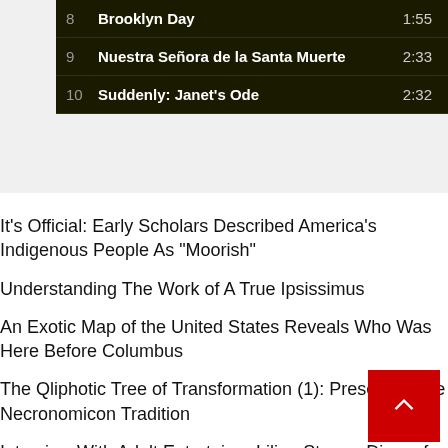| # | Title | Duration |
| --- | --- | --- |
| 8 | Brooklyn Day | 1:55 |
| 9 | Nuestra Señora de la Santa Muerte | 2:33 |
| 10 | Suddenly: Janet's Ode | 2:32 |
It's Official: Early Scholars Described America's Indigenous People As "Moorish"
Understanding The Work of A True Ipsissimus
An Exotic Map of the United States Reveals Who Was Here Before Columbus
The Qliphotic Tree of Transformation (1): Preserving the Necronomicon Tradition
Interview With Adult Entertainer Lilian Stone - Diary of a Realist
Yella Yella Brings A New Flavor To The World Of Rap Music
Origin of the Necronomicon Terms: Zi Kia Kanpa; Zi Anna Kan...